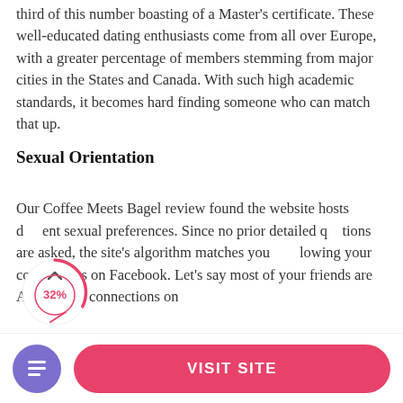third of this number boasting of a Master's certificate. These well-educated dating enthusiasts come from all over Europe, with a greater percentage of members stemming from major cities in the States and Canada. With such high academic standards, it becomes hard finding someone who can match that up.
Sexual Orientation
Our Coffee Meets Bagel review found the website hosts different sexual preferences. Since no prior detailed questions are asked, the site's algorithm matches you by following your connections on Facebook. Let's say most of your friends are Asian, your connections on
[Figure (pie-chart): Partial pie chart overlay showing 32% label with red arc indicator]
VISIT SITE